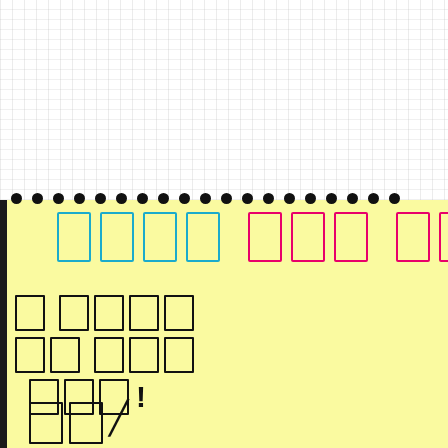[Figure (illustration): Top portion shows a gray/white textured background (like a spiral notebook cover), followed by a row of spiral binding dots. Below that is a yellow notepad page with cyan and magenta outlined rectangle boxes arranged in a header row. The lower portion of the yellow page shows rows of outlined character boxes forming text lines, including an exclamation mark, and partial characters at the bottom.]